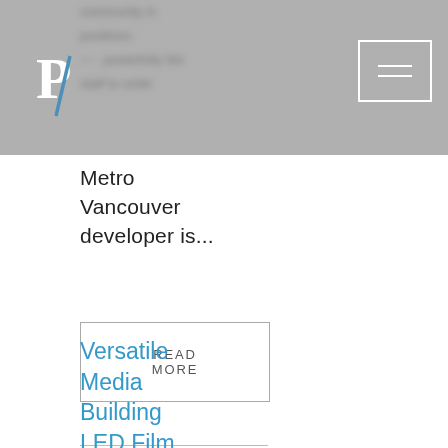community in
[Figure (logo): P/ logo mark in white on grey background]
Metro Vancouver developer is...
READ MORE
Versatile Media Building LED Film